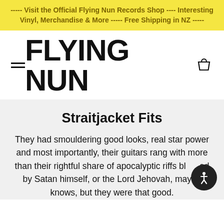----- Visit the Official Flying Nun Records Shop ---- Interesting Vinyl, Merchandise & More ----- Free Shipping in NZ -----
[Figure (logo): Flying Nun Records logo with hamburger menu and shopping bag icons]
Straitjacket Fits
They had smouldering good looks, real star power and most importantly, their guitars rang with more than their rightful share of apocalyptic riffs blessed by Satan himself, or the Lord Jehovah, maybe one knows, but they were that good.